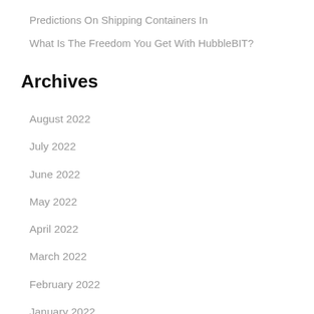Predictions On Shipping Containers In
What Is The Freedom You Get With HubbleBIT?
Archives
August 2022
July 2022
June 2022
May 2022
April 2022
March 2022
February 2022
January 2022